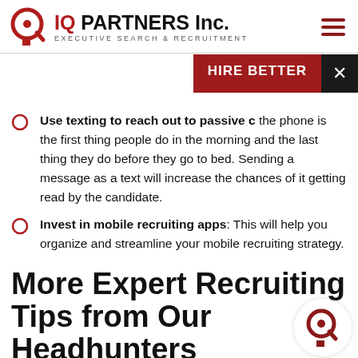[Figure (logo): IQ Partners Inc. logo with circular Q icon and text 'EXECUTIVE SEARCH & RECRUITMENT']
[Figure (other): Hamburger menu icon (three dark red horizontal lines)]
[Figure (other): Dark red 'HIRE BETTER' banner overlay with black X close button]
Use texting to reach out to passive c[andidates]: the phone is the first thing people do in the morning and the last thing they do before they go to bed. Sending a message as a text will increase the chances of it getting read by the candidate.
Invest in mobile recruiting apps: This will help you organize and streamline your mobile recruiting strategy.
More Expert Recruiting Tips from Our Headhunters
[Figure (logo): IQ Partners circular Q logo watermark, bottom right]